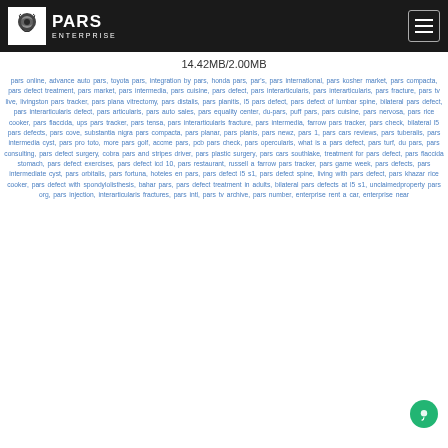PARS ENTERPRISE
14.42MB/2.00MB
pars online, advance auto pars, toyota pars, integration by pars, honda pars, par's, pars international, pars kosher market, pars compacta, pars defect treatment, pars market, pars intermedia, pars cuisine, pars defect, pars interarticularis, pars interarticularis, pars fracture, pars tv live, livingston pars tracker, pars plana vitrectomy, pars distalis, pars planitis, l5 pars defect, pars defect of lumbar spine, bilateral pars defect, pars interarticularis defect, pars articularis, pars auto sales, pars equality center, du-pars, puff pars, pars cuisine, pars nervosa, pars rice cooker, pars flaccida, ups pars tracker, pars tensa, pars interarticularis fracture, pars intermedia, farrow pars tracker, pars check, bilateral l5 pars defects, pars cove, substantia nigra pars compacta, pars planar, pars planis, pars newz, pars 1, pars cars reviews, pars tuberalis, pars intermedia cyst, pars pro toto, more pars golf, accme pars, pcb pars check, pars opercularis, what is a pars defect, pars turf, du pars, pars consulting, pars defect surgery, cobra pars and stripes driver, pars plastic surgery, pars cars southlake, treatment for pars defect, pars flaccida stomach, pars defect exercises, pars defect icd 10, pars restaurant, russell a farrow pars tracker, pars game week, pars defects, pars intermediate cyst, pars orbitalis, pars fortuna, hoteles en pars, pars defect l5 s1, pars defect spine, living with pars defect, pars khazar rice cooker, pars defect with spondylolisthesis, bahar pars, pars defect treatment in adults, bilateral pars defects at l5 s1, unclaimedproperty pars org, pars injection, interarticularis fractures, pars intl, pars tv archive, pars number, enterprise rent a car, enterprise near